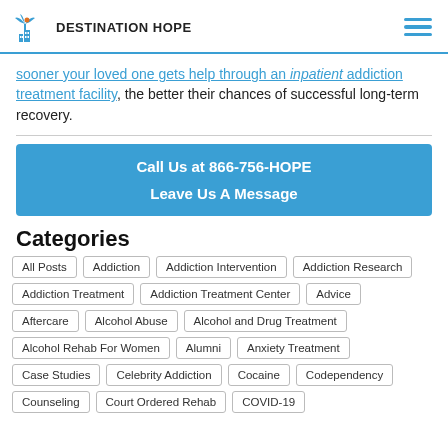Destination Hope
sooner your loved one gets help through an inpatient addiction treatment facility, the better their chances of successful long-term recovery.
Call Us at 866-756-HOPE
Leave Us A Message
Categories
All Posts
Addiction
Addiction Intervention
Addiction Research
Addiction Treatment
Addiction Treatment Center
Advice
Aftercare
Alcohol Abuse
Alcohol and Drug Treatment
Alcohol Rehab For Women
Alumni
Anxiety Treatment
Case Studies
Celebrity Addiction
Cocaine
Codependency
Counseling
Court Ordered Rehab
COVID-19